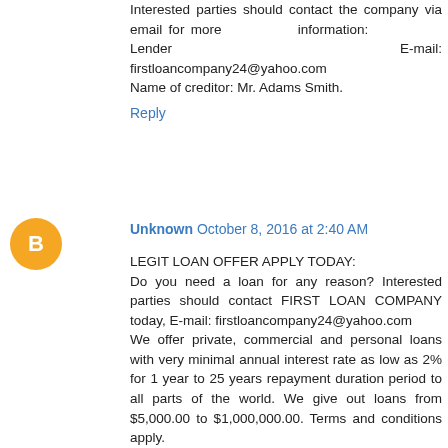Interested parties should contact the company via email for more information: Lender E-mail: firstloancompany24@yahoo.com
Name of creditor: Mr. Adams Smith.
Reply
Unknown  October 8, 2016 at 2:40 AM
LEGIT LOAN OFFER APPLY TODAY:
Do you need a loan for any reason? Interested parties should contact FIRST LOAN COMPANY today, E-mail: firstloancompany24@yahoo.com
We offer private, commercial and personal loans with very minimal annual interest rate as low as 2% for 1 year to 25 years repayment duration period to all parts of the world. We give out loans from $5,000.00 to $1,000,000.00. Terms and conditions apply.

Interested parties should contact the company via email for more information: Lender E-mail: firstloancompany24@yahoo.com
Name of creditor: Mr. Adams Smith.